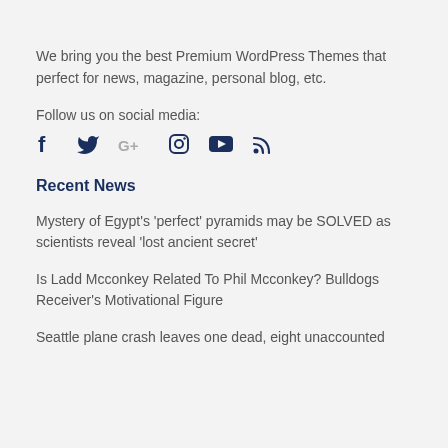We bring you the best Premium WordPress Themes that perfect for news, magazine, personal blog, etc.
Follow us on social media:
[Figure (illustration): Social media icons: Facebook, Twitter, Google+, Instagram, YouTube, RSS]
Recent News
Mystery of Egypt's 'perfect' pyramids may be SOLVED as scientists reveal 'lost ancient secret'
Is Ladd Mcconkey Related To Phil Mcconkey? Bulldogs Receiver's Motivational Figure
Seattle plane crash leaves one dead, eight unaccounted